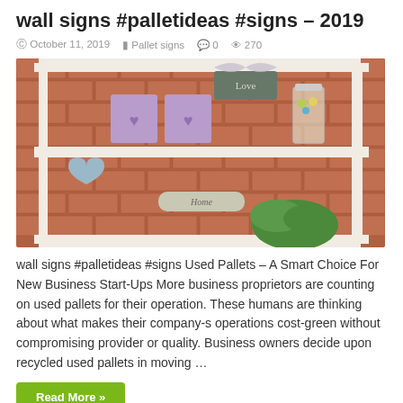wall signs #palletideas #signs – 2019
© October 11, 2019   Pallet signs   💬 0   👁 270
[Figure (photo): Photo of a white wooden pallet repurposed as a wall shelf, holding purple heart-shaped decorative boxes, a glass jar, a 'Love' sign, a blue heart ornament, a 'Home' sign, and a green plant, mounted against a red brick wall.]
wall signs #palletideas #signs Used Pallets – A Smart Choice For New Business Start-Ups More business proprietors are counting on used pallets for their operation. These humans are thinking about what makes their company-s operations cost-green without compromising provider or quality. Business owners decide upon recycled used pallets in moving …
Read More »